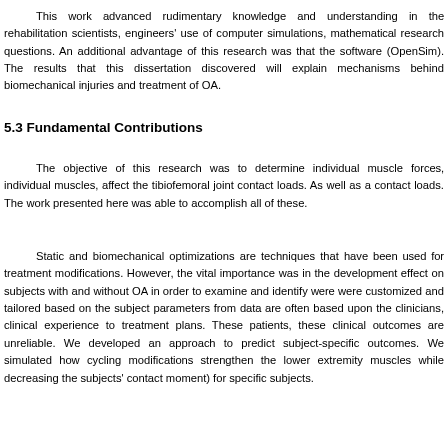This work advanced rudimentary knowledge and understanding in the rehabilitation scientists, engineers' use of computer simulations, mathematical research questions. An additional advantage of this research was that the software (OpenSim). The results that this dissertation discovered will mechanisms behind biomechanical injuries and treatment of OA.
5.3 Fundamental Contributions
The objective of this research was to determine individual muscle forces, individual muscles, affect the tibiofemoral joint contact loads. As well as contact loads. The work presented here was able to accomplish all of these.
Static and biomechanical optimizations are techniques that have treatment modifications. However, the vital importance was in the development effect on subjects with and without OA in order to examine and identify were customized and tailored based on the subject parameters from data often based upon the clinicians, clinical experience to treatment plans. The patients, these clinical outcomes are unreliable. We developed an approach to predict subject-specific outcomes. We simulated how cycling modifications strengthen the lower extremity muscles while decreasing the subjects contact moment) for specific subjects.